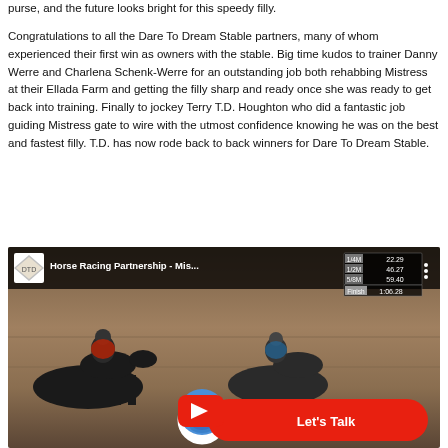purse, and the future looks bright for this speedy filly.
Congratulations to all the Dare To Dream Stable partners, many of whom experienced their first win as owners with the stable. Big time kudos to trainer Danny Werre and Charlena Schenk-Werre for an outstanding job both rehabbing Mistress at their Ellada Farm and getting the filly sharp and ready once she was ready to get back into training. Finally to jockey Terry T.D. Houghton who did a fantastic job guiding Mistress gate to wire with the utmost confidence knowing he was on the best and fastest filly. T.D. has now rode back to back winners for Dare To Dream Stable.
[Figure (screenshot): Video thumbnail showing a horse racing video titled 'Horse Racing Partnership - Mis...' with race times overlay (1/4M: 22.29, 1/2M: 46.27, 5/8M: 59.40, Finish: 1:06.28) and a 'Let's Talk' call-to-action button with a person's avatar.]